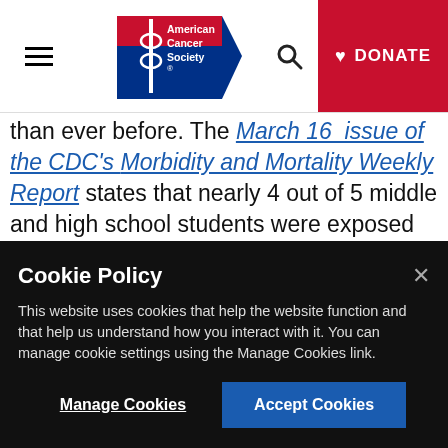[Figure (screenshot): American Cancer Society website navigation bar with hamburger menu, ACS logo (blue pentagon with red banner), search icon, and red DONATE button with heart icon]
than ever before. The March 16 issue of the CDC's Morbidity and Mortality Weekly Report states that nearly 4 out of 5 middle and high school students were exposed to e-cigarette ads from at least one source in 2016. This is a 12% increase from 2014.
E-cigarettes are the most commonly used tobacco product among this age group. According to the CDC, exposure to e-cigarette advertising is linked to the chances that young
Cookie Policy
This website uses cookies that help the website function and that help us understand how you interact with it. You can manage cookie settings using the Manage Cookies link.